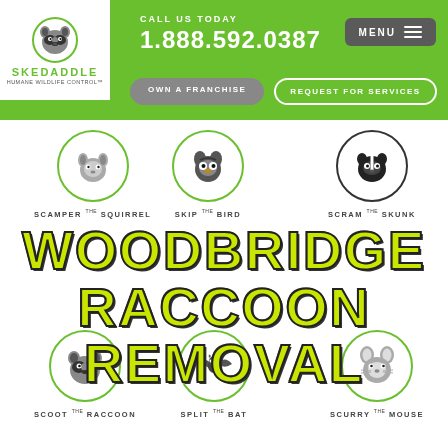[Figure (screenshot): Skedaddle Humane Wildlife Control website header with green background, logo, phone number 1.888.592.0387, MENU button, OWN A FRANCHISE and REQUEST FOR SERVICES buttons]
[Figure (infographic): Three animal mascot icons in green-bordered circles: squirrel (SCAMPER THE SQUIRREL), bird (SKIP THE BIRD), skunk (SCRAM THE SKUNK)]
WOODBRIDGE RACCOON REMOVAL
[Figure (infographic): Three animal mascot icons in circles: raccoon (SCOOT THE RACCOON), bat (SPLIT THE BAT), mouse (SCURRY THE MOUSE)]